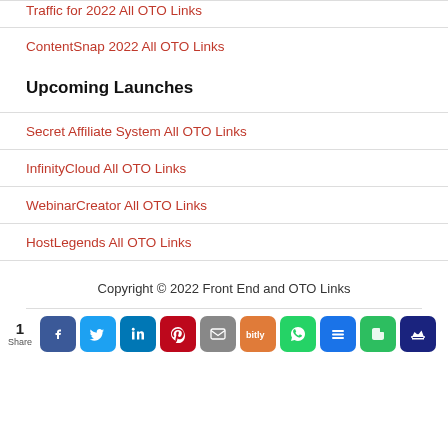Traffic for 2022 All OTO Links
ContentSnap 2022 All OTO Links
Upcoming Launches
Secret Affiliate System All OTO Links
InfinityCloud All OTO Links
WebinarCreator All OTO Links
HostLegends All OTO Links
Copyright © 2022 Front End and OTO Links